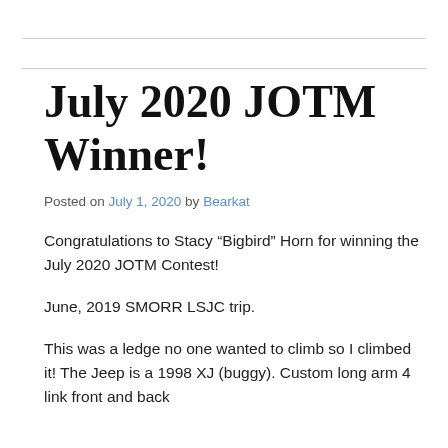July 2020 JOTM Winner!
Posted on July 1, 2020 by Bearkat
Congratulations to Stacy “Bigbird” Horn for winning the July 2020 JOTM Contest!
June, 2019 SMORR LSJC trip.
This was a ledge no one wanted to climb so I climbed it! The Jeep is a 1998 XJ (buggy). Custom long arm 4 link front and back